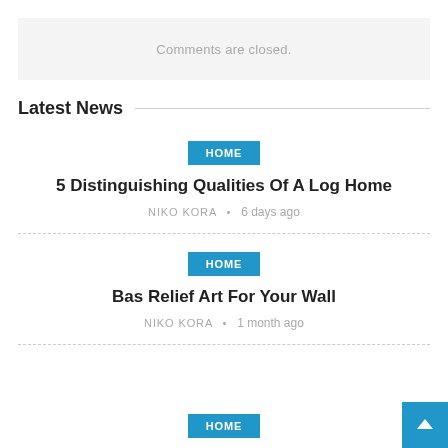Comments are closed.
Latest News
HOME
5 Distinguishing Qualities Of A Log Home
NIKO KORA • 6 days ago
HOME
Bas Relief Art For Your Wall
NIKO KORA • 1 month ago
HOME